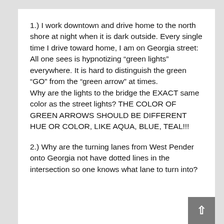1.) I work downtown and drive home to the north shore at night when it is dark outside. Every single time I drive toward home, I am on Georgia street: All one sees is hypnotizing "green lights" everywhere. It is hard to distinguish the green "GO" from the "green arrow" at times.
Why are the lights to the bridge the EXACT same color as the street lights? THE COLOR OF GREEN ARROWS SHOULD BE DIFFERENT HUE OR COLOR, LIKE AQUA, BLUE, TEAL!!!
2.) Why are the turning lanes from West Pender onto Georgia not have dotted lines in the intersection so one knows what lane to turn into?